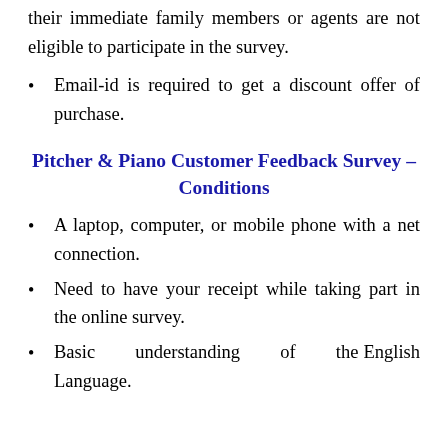their immediate family members or agents are not eligible to participate in the survey.
Email-id is required to get a discount offer of purchase.
Pitcher & Piano Customer Feedback Survey – Conditions
A laptop, computer, or mobile phone with a net connection.
Need to have your receipt while taking part in the online survey.
Basic understanding of the English Language.